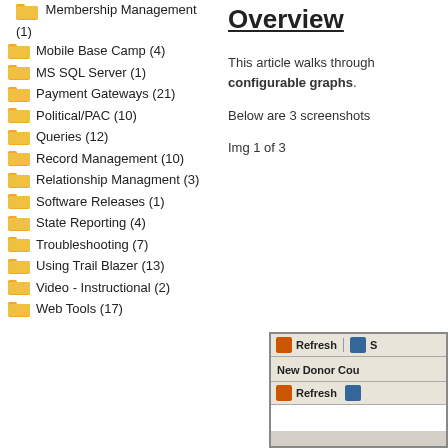Membership Management (1)
Mobile Base Camp (4)
MS SQL Server (1)
Payment Gateways (21)
Political/PAC (10)
Queries (12)
Record Management (10)
Relationship Managment (3)
Software Releases (1)
State Reporting (4)
Troubleshooting (7)
Using Trail Blazer (13)
Video - Instructional (2)
Web Tools (17)
Overview
This article walks through configurable graphs.
Below are 3 screenshots
Img 1 of 3
[Figure (screenshot): Screenshot of a UI with Refresh and Save buttons, New Donor Count label, and a grid/table interface.]